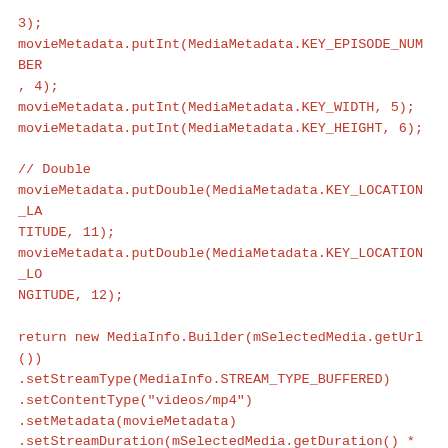3);
moviemetadata.putInt(MediaMetadata.KEY_EPISODE_NUMBER, 4);
moviemetadata.putInt(MediaMetadata.KEY_WIDTH, 5);
moviemetadata.putInt(MediaMetadata.KEY_HEIGHT, 6);

// Double
moviemetadata.putDouble(MediaMetadata.KEY_LOCATION_LATITUDE, 11);
moviemetadata.putDouble(MediaMetadata.KEY_LOCATION_LONGITUDE, 12);

return new MediaInfo.Builder(mSelectedMedia.getUrl())
.setStreamType(MediaInfo.STREAM_TYPE_BUFFERED)
.setContentType("videos/mp4")
.setMetadata(movieMetadata)
.setStreamDuration(mSelectedMedia.getDuration() * 1000)
.build();
}